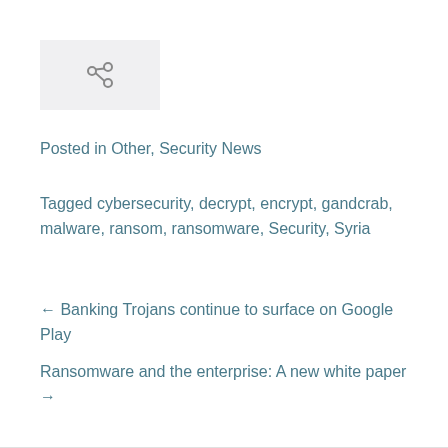[Figure (illustration): Chain link / share icon in a light gray box]
Posted in Other, Security News
Tagged cybersecurity, decrypt, encrypt, gandcrab, malware, ransom, ransomware, Security, Syria
← Banking Trojans continue to surface on Google Play
Ransomware and the enterprise: A new white paper →